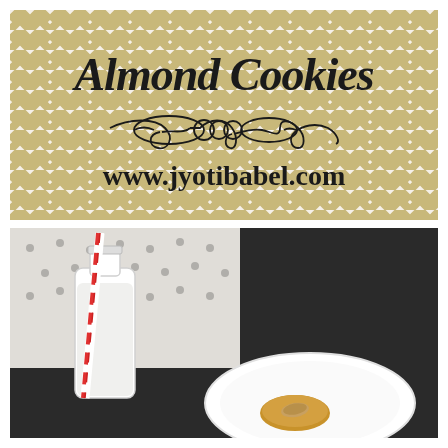[Figure (illustration): Decorative graphic with tan and white chevron/zigzag pattern background. Bold italic cursive black text reads 'Almond Cookies' at top. A decorative flourish/swirl ornament in the center. Below, bold black sans-serif text reads 'www.jyotibabel.com'.]
[Figure (photo): Food photography showing a glass milk bottle with a red and white striped paper straw on a white polka-dot cloth, next to a white plate with an almond cookie on a dark background.]